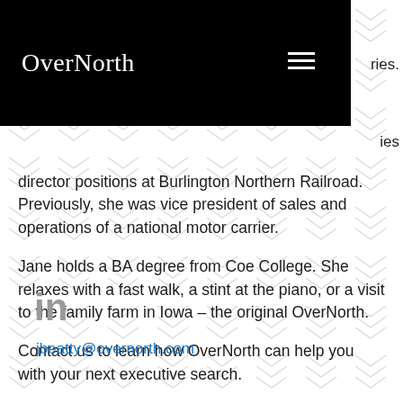OverNorth
director positions at Burlington Northern Railroad. Previously, she was vice president of sales and operations of a national motor carrier.
Jane holds a BA degree from Coe College. She relaxes with a fast walk, a stint at the piano, or a visit to the family farm in Iowa – the original OverNorth.
Contact us to learn how OverNorth can help you with your next executive search.
[Figure (logo): LinkedIn icon]
jbeatty@overnorth.com